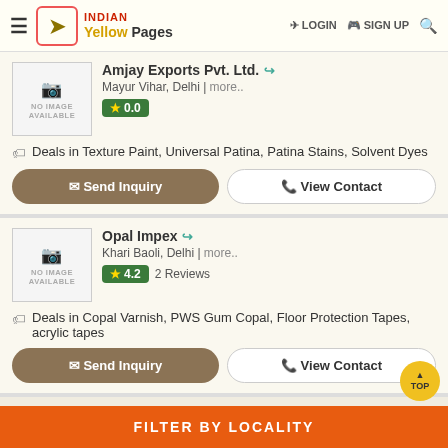INDIAN Yellow Pages — LOGIN SIGN UP
Amjay Exports Pvt. Ltd. — Mayur Vihar, Delhi | more.. — Rating: 0.0
Deals in Texture Paint, Universal Patina, Patina Stains, Solvent Dyes
Send Inquiry | View Contact
Opal Impex — Khari Baoli, Delhi | more.. — Rating: 4.2 — 2 Reviews
Deals in Copal Varnish, PWS Gum Copal, Floor Protection Tapes, acrylic tapes
Send Inquiry | View Contact
FILTER BY LOCALITY